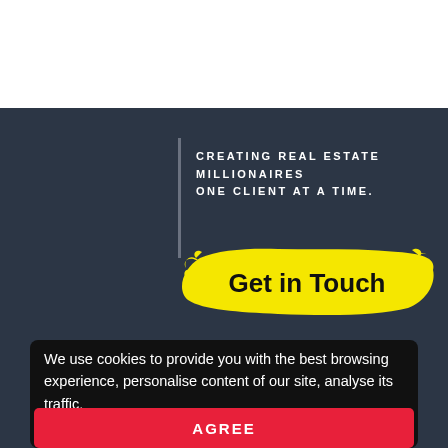[Figure (illustration): White header bar at top of page]
CREATING REAL ESTATE MILLIONAIRES ONE CLIENT AT A TIME.
[Figure (illustration): Yellow paint brush stroke button with text 'Get in Touch']
We use cookies to provide you with the best browsing experience, personalise content of our site, analyse its traffic.
[Figure (illustration): Red AGREE button]